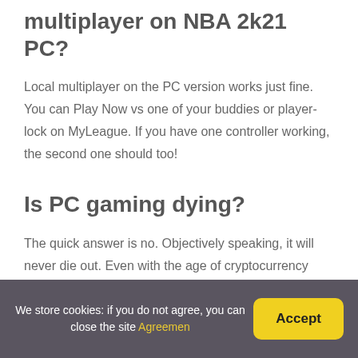multiplayer on NBA 2k21 PC?
Local multiplayer on the PC version works just fine. You can Play Now vs one of your buddies or player-lock on MyLeague. If you have one controller working, the second one should too!
Is PC gaming dying?
The quick answer is no. Objectively speaking, it will never die out. Even with the age of cryptocurrency affecting the PC gaming hardware supply, it is still alive more than ever. PC gaming is at the helm of streaming, esports events, and free-to-play
We store cookies: if you do not agree, you can close the site Agreemen   Accept